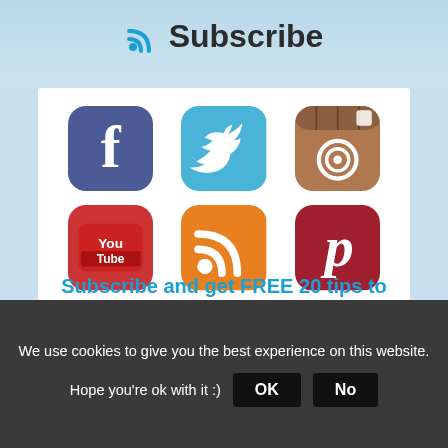Subscribe
[Figure (illustration): Six social media icons in a 2x3 grid: Facebook (dark blue with 'f'), Twitter (light blue with bird), Instagram (brown camera), YouTube (red with 'YouTube' text), RSS (orange with RSS icon), Pinterest (dark red with 'P')]
Subscribe and get FREE 20 tips to save money to travel
Your name
E-mail
We use cookies to give you the best experience on this website. Hope you're ok with it :)